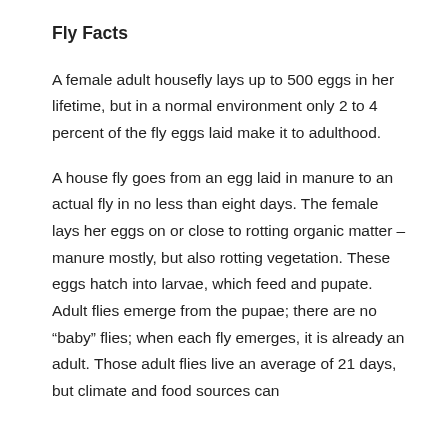Fly Facts
A female adult housefly lays up to 500 eggs in her lifetime, but in a normal environment only 2 to 4 percent of the fly eggs laid make it to adulthood.
A house fly goes from an egg laid in manure to an actual fly in no less than eight days. The female lays her eggs on or close to rotting organic matter – manure mostly, but also rotting vegetation. These eggs hatch into larvae, which feed and pupate. Adult flies emerge from the pupae; there are no “baby” flies; when each fly emerges, it is already an adult. Those adult flies live an average of 21 days, but climate and food sources can...